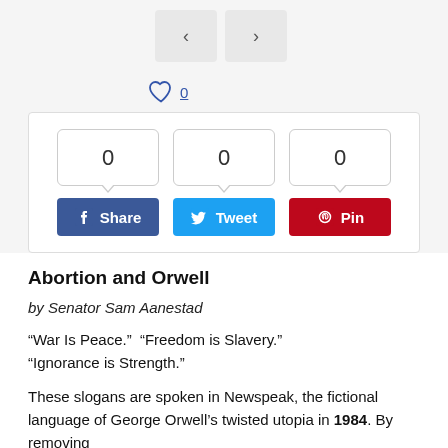[Figure (screenshot): Navigation buttons (left arrow and right arrow) in gray rounded rectangles]
[Figure (screenshot): Heart/like icon with count 0 (underlined blue)]
[Figure (screenshot): Social share widget with three count bubbles all showing 0, and three buttons: Facebook Share, Twitter Tweet, Pinterest Pin]
Abortion and Orwell
by Senator Sam Aanestad
“War Is Peace.”  “Freedom is Slavery.” “Ignorance is Strength.”
These slogans are spoken in Newspeak, the fictional language of George Orwell’s twisted utopia in 1984. By removing